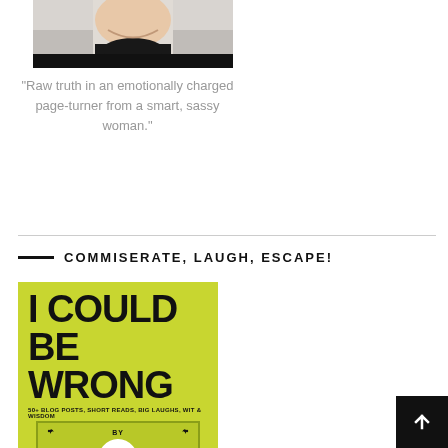[Figure (photo): Partial photo of a person's face cropped at the top, showing chin/mouth area and dark clothing]
"Raw truth in an emotionally charged page-turner from a smart, sassy woman."
[Figure (illustration): Book cover for 'I Could Be Wrong' — yellow-green background, bold black title text, subtitle '50+ Blog Posts, Short Reads, Big Laughs, Wit & Wisdom', with decorative card frame, birds, and author portrait silhouette]
COMMISERATE, LAUGH, ESCAPE!